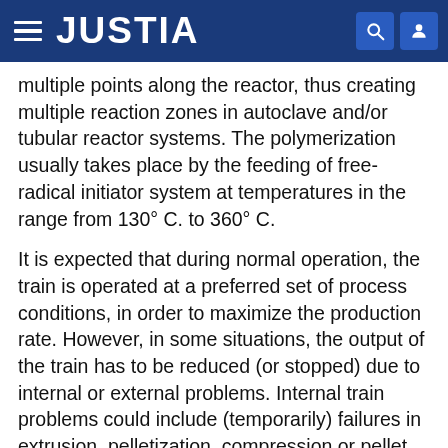JUSTIA
multiple points along the reactor, thus creating multiple reaction zones in autoclave and/or tubular reactor systems. The polymerization usually takes place by the feeding of free-radical initiator system at temperatures in the range from 130° C. to 360° C.
It is expected that during normal operation, the train is operated at a preferred set of process conditions, in order to maximize the production rate. However, in some situations, the output of the train has to be reduced (or stopped) due to internal or external problems. Internal train problems could include (temporarily) failures in extrusion, pelletization, compression or pellet transport systems, while external problems could include reduced ethylene supply by problems in the ethylene production, storage or transport systems. Another reason to reduce train